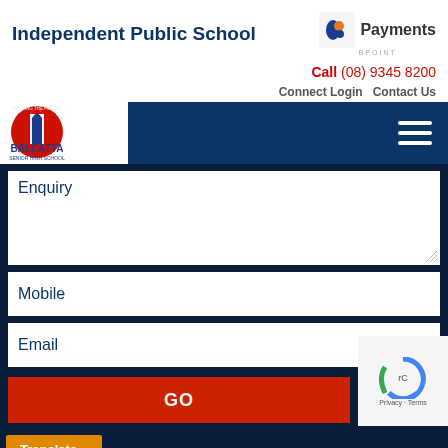Independent Public School
[Figure (logo): BPOINT Payments logo with stylized 'b' icon]
Call (08) 9345 8200
Connect Login   Contact Us
[Figure (logo): Balcatta Senior High School logo - circular emblem with building/hand motif and text BALCATTA SENIOR HIGH SCHOOL]
Enquiry
Mobile
Email
GO
Translate »